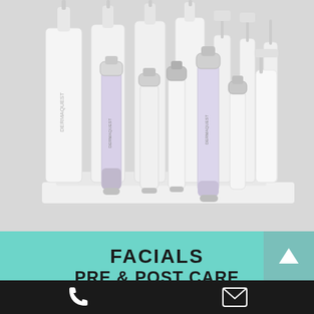[Figure (photo): Display of multiple DermaQuest skincare products including bottles and serum pens arranged on a white tiered display stand, photographed in a clean white/light setting]
FACIALS
PRE & POST CARE
Phone icon and email icon navigation bar